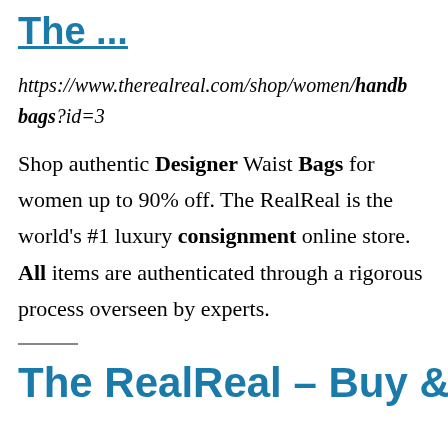... The ...
https://www.therealreal.com/shop/women/handbags?id=3
Shop authentic Designer Waist Bags for women up to 90% off. The RealReal is the world's #1 luxury consignment online store. All items are authenticated through a rigorous process overseen by experts.
The RealReal – Buy &